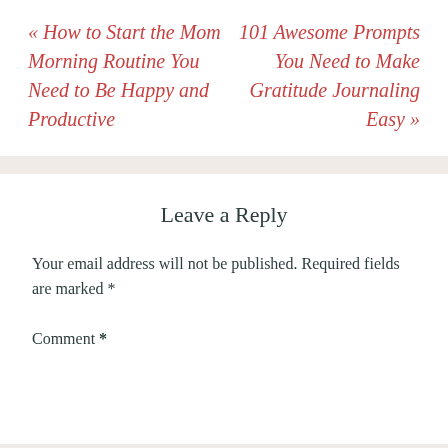« How to Start the Mom Morning Routine You Need to Be Happy and Productive
101 Awesome Prompts You Need to Make Gratitude Journaling Easy »
Leave a Reply
Your email address will not be published. Required fields are marked *
Comment *